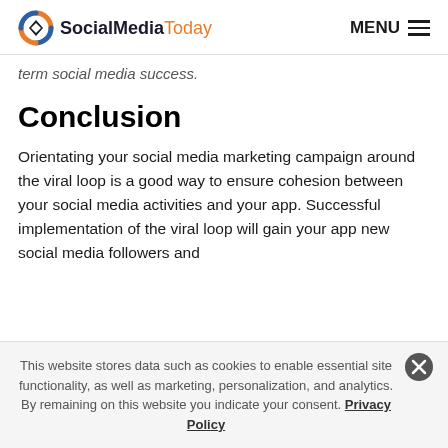SocialMediaToday   MENU
term social media success.
Conclusion
Orientating your social media marketing campaign around the viral loop is a good way to ensure cohesion between your social media activities and your app. Successful implementation of the viral loop will gain your app new social media followers and
This website stores data such as cookies to enable essential site functionality, as well as marketing, personalization, and analytics. By remaining on this website you indicate your consent. Privacy Policy